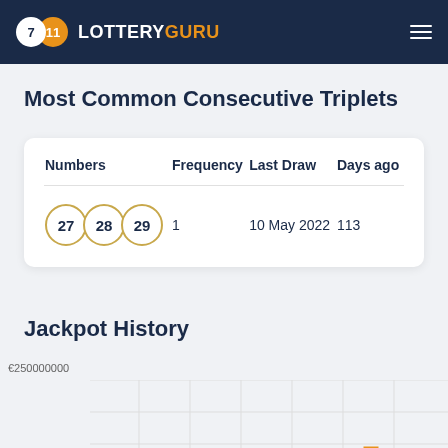7 11 LOTTERYGURU
Most Common Consecutive Triplets
| Numbers | Frequency | Last Draw | Days ago |
| --- | --- | --- | --- |
| 27  28  29 | 1 | 10 May 2022 | 113 |
Jackpot History
[Figure (line-chart): Jackpot history line chart showing values up to €250000000 with orange line/bars pattern visible]